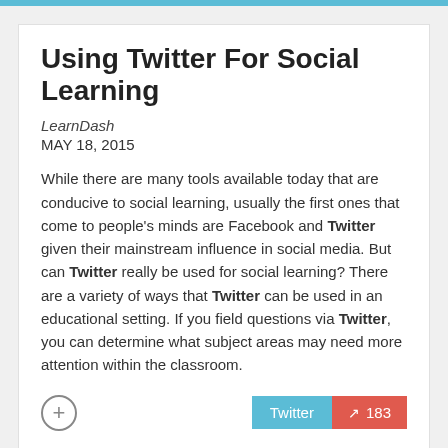Using Twitter For Social Learning
LearnDash
MAY 18, 2015
While there are many tools available today that are conducive to social learning, usually the first ones that come to people's minds are Facebook and Twitter given their mainstream influence in social media. But can Twitter really be used for social learning? There are a variety of ways that Twitter can be used in an educational setting. If you field questions via Twitter, you can determine what subject areas may need more attention within the classroom.
Stay Connected
Join 114,000+ Insiders by signing up for our